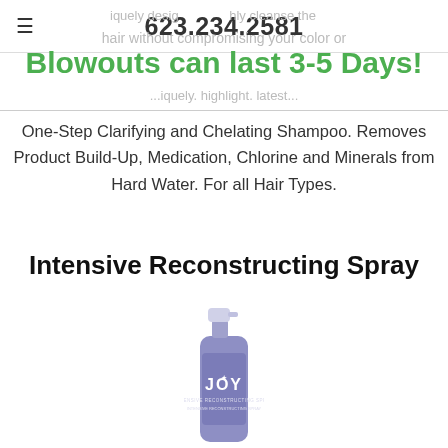623.234.2581
iquely desig... hly cleanse the hair without compromising your color or
Blowouts can last 3-5 Days!
...iquely. highlight. latest...
One-Step Clarifying and Chelating Shampoo. Removes Product Build-Up, Medication, Chlorine and Minerals from Hard Water. For all Hair Types.
Intensive Reconstructing Spray
[Figure (photo): A purple/lavender spray bottle labeled JOY Intensive Reconstructing Spray with a white spray nozzle cap on top.]